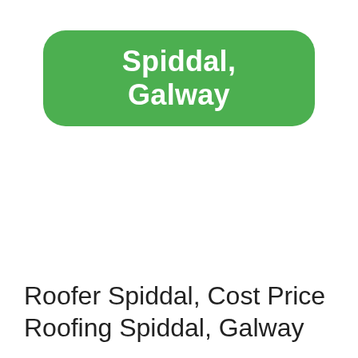Spiddal, Galway
Roofer Spiddal, Cost Price Roofing Spiddal, Galway